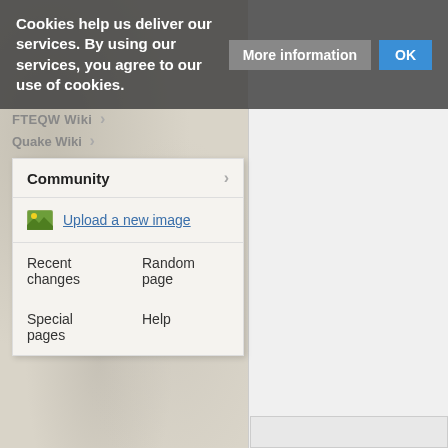[Figure (screenshot): Website screenshot showing a cookie consent banner overlay on a wiki website with a dropdown Community navigation menu open. The banner reads 'Cookies help us deliver our services. By using our services, you agree to our use of cookies.' with 'More information' and 'OK' buttons. Below is a Community dropdown menu with options: Upload a new image, Recent changes, Random page, Special pages, Help.]
Cookies help us deliver our services. By using our services, you agree to our use of cookies.
More information
OK
Community
Upload a new image
Recent changes
Random page
Special pages
Help